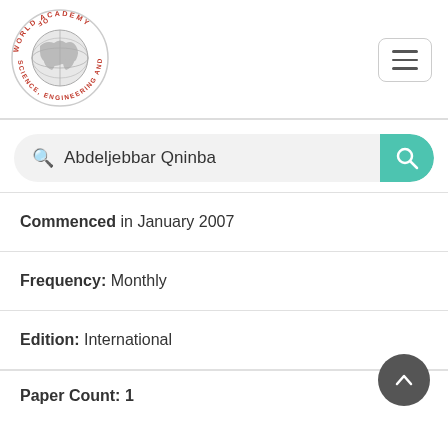[Figure (logo): World Academy of Science, Engineering and Technology circular logo with globe]
Abdeljebbar Qninba
Commenced in January 2007
Frequency: Monthly
Edition: International
Paper Count: 1